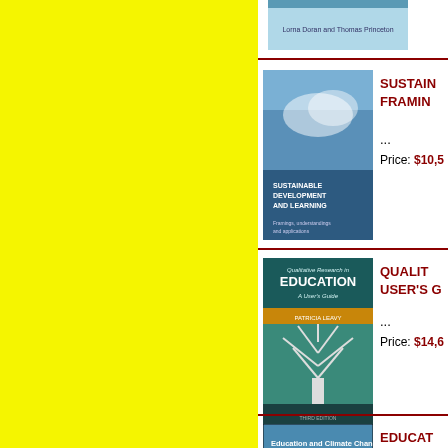[Figure (photo): Book cover partially visible at top - appears to be a book by Linda Doran and Thomas Princeton]
[Figure (photo): Book cover: Sustainable Development and Learning - blue cloudy sky cover]
SUSTAINABLE FRAMING...
...
Price: $10,5...
[Figure (photo): Book cover: Qualitative Research in Education A User's Guide - teal cover with white tree]
QUALITATIVE RESEARCH USER'S G...
...
Price: $14,6...
[Figure (photo): Book cover: Education and Climate Change - blue cover]
EDUCATION LEARNING...
...